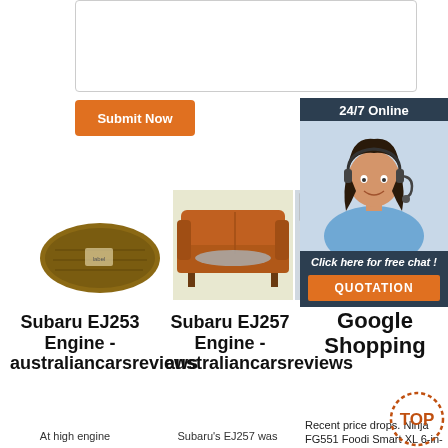[Figure (other): Textarea input box (empty, with border)]
[Figure (other): Orange Submit Now button]
[Figure (other): 24/7 Online chat banner with female customer service agent photo and QUOTATION button]
[Figure (photo): Product image: shoe sole (Subaru EJ253 Engine listing)]
[Figure (photo): Product image: brown leather sofa with sheepskin throw (Subaru EJ257 Engine listing)]
[Figure (photo): Product image: room with fuzzy blue chair]
Subaru EJ253 Engine - australiancarsreviews
Subaru EJ257 Engine - australiancarsreviews
Google Shopping
At high engine
Subaru's EJ257 was
Recent price drops. Ninja FG551 Foodi Smart XL 6-in-1 Indoor
[Figure (other): TOP badge in orange/brown dotted circle]